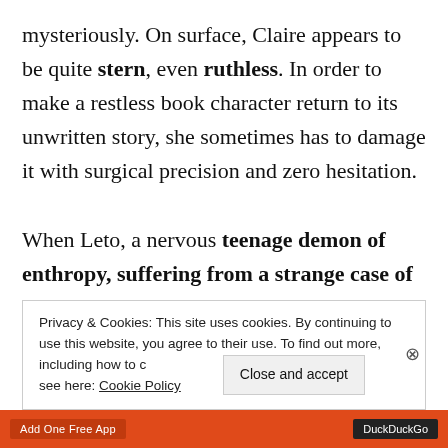mysteriously. On surface, Claire appears to be quite stern, even ruthless. In order to make a restless book character return to its unwritten story, she sometimes has to damage it with surgical precision and zero hesitation.

When Leto, a nervous teenage demon of enthropy, suffering from a strange case of
Privacy & Cookies: This site uses cookies. By continuing to use this website, you agree to their use. To find out more, including how to control cookies, see here: Cookie Policy